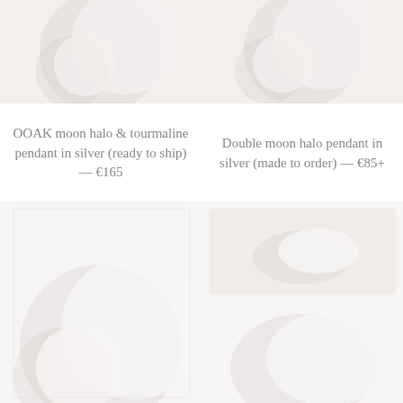[Figure (photo): Product image placeholder for OOAK moon halo & tourmaline pendant in silver (ready to ship), decorative moon/crescent watermark on light background]
OOAK moon halo & tourmaline pendant in silver (ready to ship) — €165
[Figure (photo): Product image placeholder for Double moon halo pendant in silver (made to order), decorative moon/crescent watermark on light background]
Double moon halo pendant in silver (made to order) — €85+
[Figure (photo): Product image placeholder bottom-left, decorative moon/crescent watermark on light background]
[Figure (photo): Product image placeholder bottom-right, partial rectangular pale background visible, decorative pattern]